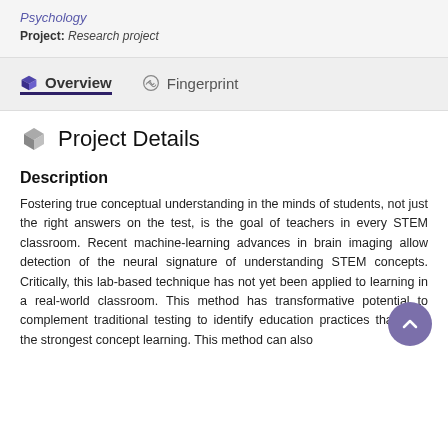Psychology
Project: Research project
Overview   Fingerprint
Project Details
Description
Fostering true conceptual understanding in the minds of students, not just the right answers on the test, is the goal of teachers in every STEM classroom. Recent machine-learning advances in brain imaging allow detection of the neural signature of understanding STEM concepts. Critically, this lab-based technique has not yet been applied to learning in a real-world classroom. This method has transformative potential to complement traditional testing to identify education practices that yield the strongest concept learning. This method can also